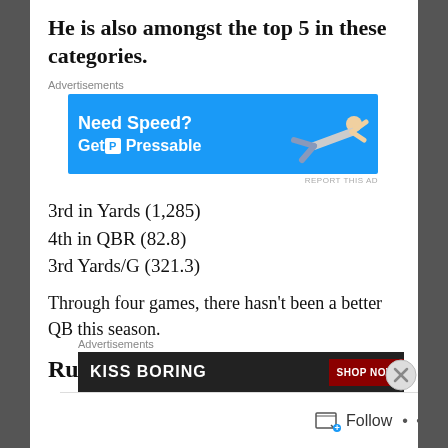He is also amongst the top 5 in these categories.
[Figure (infographic): Advertisement banner for Pressable hosting: 'Need Speed? Get Pressable' on blue background with figure of person flying]
3rd in Yards (1,285)
4th in QBR (82.8)
3rd Yards/G (321.3)
Through four games, there hasn't been a better QB this season.
Runner Up: Aaron Rodgers
[Figure (photo): Advertisement banner: 'KISS BORING' with 'SHOP NOW' button, dark background]
Follow